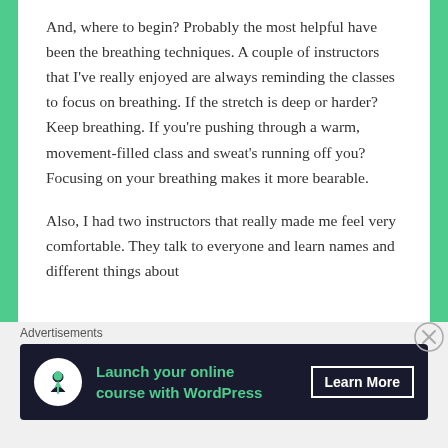And, where to begin? Probably the most helpful have been the breathing techniques. A couple of instructors that I've really enjoyed are always reminding the classes to focus on breathing. If the stretch is deep or harder? Keep breathing. If you're pushing through a warm, movement-filled class and sweat's running off you? Focusing on your breathing makes it more bearable.
Also, I had two instructors that really made me feel very comfortable. They talk to everyone and learn names and different things about
Advertisements
[Figure (other): Advertisement banner with dark background showing 'Launch your online course with WordPress' with a tree/person icon and 'Learn More' call-to-action button]